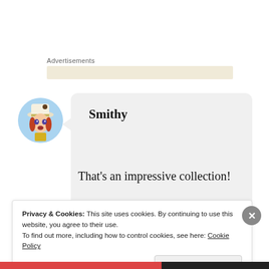Advertisements
[Figure (illustration): Anime-style character avatar with white hat, red/orange hair, blue sky background, in a circular frame]
Smithy
That's an impressive collection!
Privacy & Cookies: This site uses cookies. By continuing to use this website, you agree to their use.
To find out more, including how to control cookies, see here: Cookie Policy
Close and accept